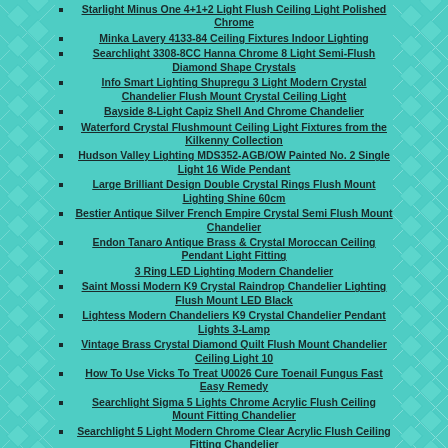Starlight Minus One 4+1+2 Light Flush Ceiling Light Polished Chrome
Minka Lavery 4133-84 Ceiling Fixtures Indoor Lighting
Searchlight 3308-8CC Hanna Chrome 8 Light Semi-Flush Diamond Shape Crystals
Info Smart Lighting Shupregu 3 Light Modern Crystal Chandelier Flush Mount Crystal Ceiling Light
Bayside 8-Light Capiz Shell And Chrome Chandelier
Waterford Crystal Flushmount Ceiling Light Fixtures from the Kilkenny Collection
Hudson Valley Lighting MDS352-AGB/OW Painted No. 2 Single Light 16 Wide Pendant
Large Brilliant Design Double Crystal Rings Flush Mount Lighting Shine 60cm
Bestier Antique Silver French Empire Crystal Semi Flush Mount Chandelier
Endon Tanaro Antique Brass & Crystal Moroccan Ceiling Pendant Light Fitting
3 Ring LED Lighting Modern Chandelier
Saint Mossi Modern K9 Crystal Raindrop Chandelier Lighting Flush Mount LED Black
Lightess Modern Chandeliers K9 Crystal Chandelier Pendant Lights 3-Lamp
Vintage Brass Crystal Diamond Quilt Flush Mount Chandelier Ceiling Light 10
How To Use Vicks To Treat U0026 Cure Toenail Fungus Fast Easy Remedy
Searchlight Sigma 5 Lights Chrome Acrylic Flush Ceiling Mount Fitting Chandelier
Searchlight 5 Light Modern Chrome Clear Acrylic Flush Ceiling Fitting Chandelier